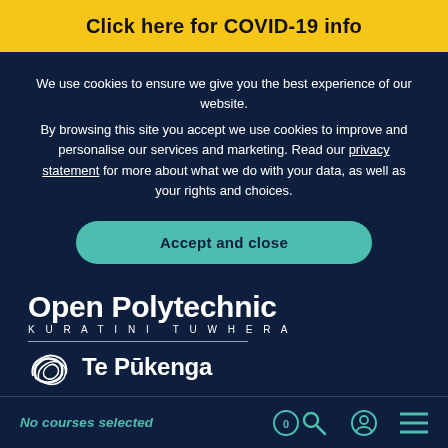Click here for COVID-19 info
We use cookies to ensure we give you the best experience of our website.
By browsing this site you accept we use cookies to improve and personalise our services and marketing. Read our privacy statement for more about what we do with your data, as well as your rights and choices.
Accept and close
[Figure (logo): Open Polytechnic Kuratini Tuwhera logo above a divider line, with Te Pūkenga logo (stylized bird/koru icon) below]
No courses selected 0